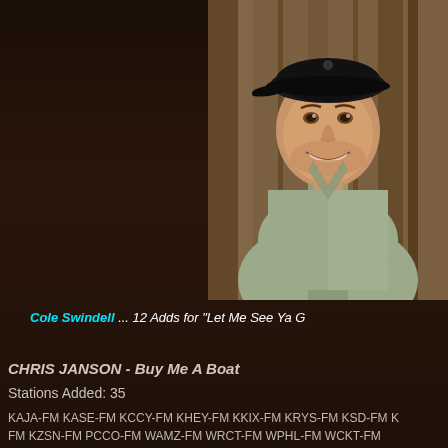[Figure (photo): Photo of Cole Swindell, a young man wearing a black baseball cap and grey chambray shirt, smiling, photographed against a wooden background]
Cole Swindell ... 12 Adds for "Let Me See Ya G
CHRIS JANSON - Buy Me A Boat
Stations Added: 35
KAJA-FM KASE-FM KCCY-FM KHEY-FM KKIX-FM KRYS-FM KSD-FM K FM KZSN-FM PCCO-FM WAMZ-FM WRCT-FM WPHL-FM WCKT-FM